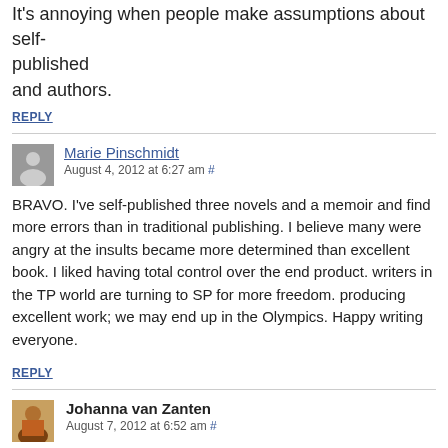It's annoying when people make assumptions about self-published authors and authors.
REPLY
Marie Pinschmidt
August 4, 2012 at 6:27 am #
BRAVO. I've self-published three novels and a memoir and find more errors than in traditional publishing. I believe many were angry at the insults became more determined than to produce an excellent book. I liked having total control over the end product, and many writers in the TP world are turning to SP for more freedom. We're producing excellent work; we may end up in the Olympics. Happy writing everyone.
REPLY
Johanna van Zanten
August 7, 2012 at 6:52 am #